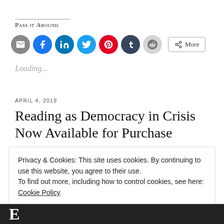Pass it Around
[Figure (infographic): Row of social sharing icon buttons: email (grey circle), Facebook (blue circle), LinkedIn (blue circle), Twitter (light blue circle), Pinterest (red circle), Tumblr (dark navy circle), Reddit (light grey circle), and a More button with share icon]
Loading...
APRIL 4, 2019
Reading as Democracy in Crisis Now Available for Purchase
Privacy & Cookies: This site uses cookies. By continuing to use this website, you agree to their use.
To find out more, including how to control cookies, see here: Cookie Policy
Close and accept
[Figure (photo): Partial image at bottom of page showing large text letters against a dark background]